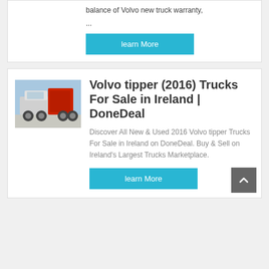balance of Volvo new truck warranty,
...
[Figure (screenshot): A cyan/teal 'learn More' button]
[Figure (photo): A white Volvo tipper truck with red equipment on the back, parked outdoors]
Volvo tipper (2016) Trucks For Sale in Ireland | DoneDeal
Discover All New & Used 2016 Volvo tipper Trucks For Sale in Ireland on DoneDeal. Buy & Sell on Ireland's Largest Trucks Marketplace.
[Figure (screenshot): A cyan/teal 'learn More' button]